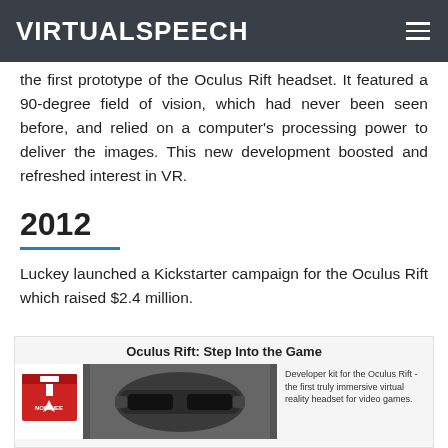VIRTUALSPEECH
the first prototype of the Oculus Rift headset. It featured a 90-degree field of vision, which had never been seen before, and relied on a computer's processing power to deliver the images. This new development boosted and refreshed interest in VR.
2012
Luckey launched a Kickstarter campaign for the Oculus Rift which raised $2.4 million.
[Figure (photo): Oculus Rift: Step Into the Game — image showing the Oculus Rift headset developer kit with a nominee badge and description text: Developer kit for the Oculus Rift - the first truly immersive virtual reality headset for video games.]